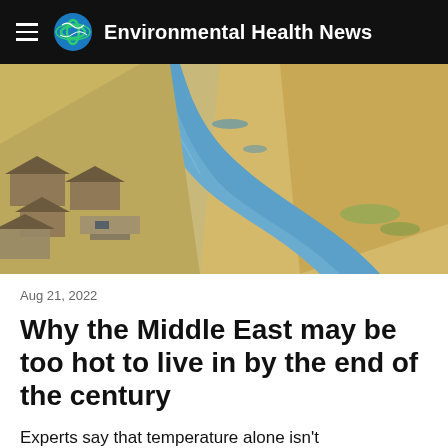Environmental Health News
[Figure (photo): Aerial view of a river winding through a dry, arid landscape with wooden thatched-roof structures and docks along the left bank.]
Aug 21, 2022
Why the Middle East may be too hot to live in by the end of the century
Experts say that temperature alone isn't